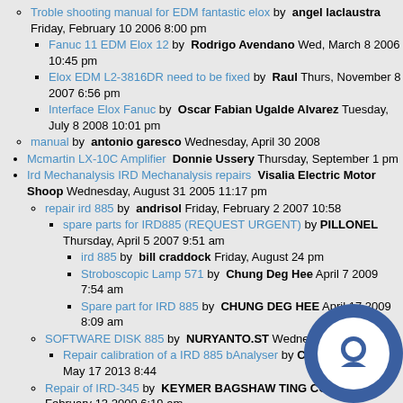Troble shooting manual for EDM fantastic elox by angel laclaustra Friday, February 10 2006 8:00 pm
Fanuc 11 EDM Elox 12 by Rodrigo Avendano Wednesday, March 8 2006 10:45 pm
Elox EDM L2-3816DR need to be fixed by Raul Thursday, November 8 2007 6:56 pm
Interface Elox Fanuc by Oscar Fabian Ugalde Alvarez Tuesday, July 8 2008 10:01 pm
manual by antonio garesco Wednesday, April 30 2008
Mcmartin LX-10C Amplifier Donnie Ussery Thursday, September 1 pm
Ird Mechanalysis IRD Mechanalysis repairs Visalia Electric Motor Shoop Wednesday, August 31 2005 11:17 pm
repair ird 885 by andrisol Friday, February 2 2007 10:58
spare parts for IRD885 (REQUEST URGENT) by PILLONEL Thursday, April 5 2007 9:51 am
ird 885 by bill craddock Friday, August 24 pm
Stroboscopic Lamp 571 by Chung Deg Hee April 7 2009 7:54 am
Spare part for IRD 885 by CHUNG DEG HEE April 17 2009 8:09 am
SOFTWARE DISK 885 by NURYANTO.ST Wednesday, Ma 3:31 am
Repair calibration of a IRD 885 bAnalyser by Carvalho Friday, May 17 2013 8:44
Repair of IRD-345 by KEYMER BAGSHAW TING CO Friday, February 13 2009 6:19 am
IRD-885 REPAIR by eliyanto Thursday, October 15 2009